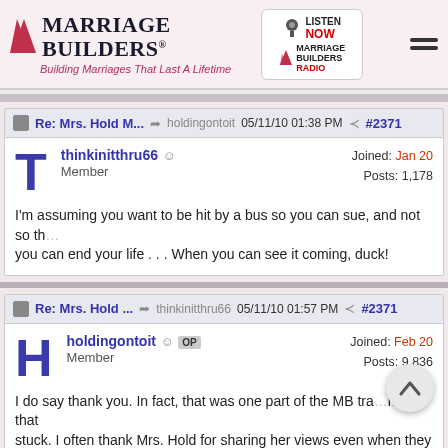Marriage Builders - Building Marriages That Last A Lifetime
Re: Mrs. Hold M... holdingontoit 05/11/10 01:38 PM #2371 thinkinitthru66 Member Joined: Jan 20 Posts: 1,178 I'm assuming you want to be hit by a bus so you can sue, and not so that you can end your life . . . When you can see it coming, duck!
Re: Mrs. Hold ... thinkinitthru66 05/11/10 01:57 PM #2371 holdingontoit OP Member Joined: Feb 20 Posts: 9,836 I do say thank you. In fact, that was one part of the MB training that stuck. I often thank Mrs. Hold for sharing her views even when they are painful to hear. Initially she was openly sceptical of my sincerity. But